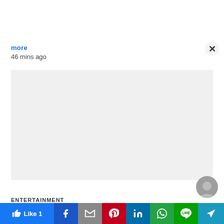more
46 mins ago
[Figure (other): Gray advertisement placeholder box]
[Figure (other): User avatar circle icon, gray with silhouette]
ENTERTAINMENT
[Figure (other): Social share bar with Like 1, Facebook, Gmail, Pinterest, LinkedIn, WhatsApp, Line, and share icons]